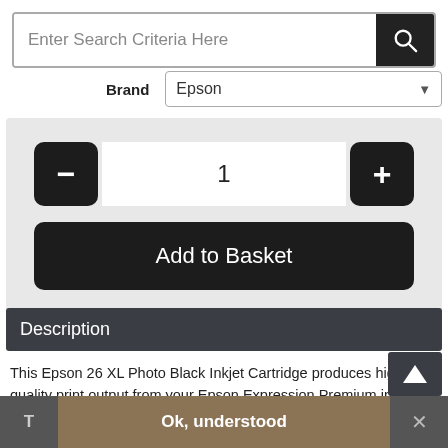[Figure (screenshot): Search bar input field with placeholder text 'Enter Search Criteria Here' and a dark search button with magnifying glass icon]
Brand   Epson
[Figure (screenshot): Quantity selector with minus button, number 1, plus button, and Add to Basket button]
Description
This Epson 26 XL Photo Black Inkjet Cartridge produces high quality print output from your Epson Expression Premium inkjet printer. As a genuine Epson consumable, it provides consistent and reliable operation for trouble-free printing. This
T   Ok, understood   ×